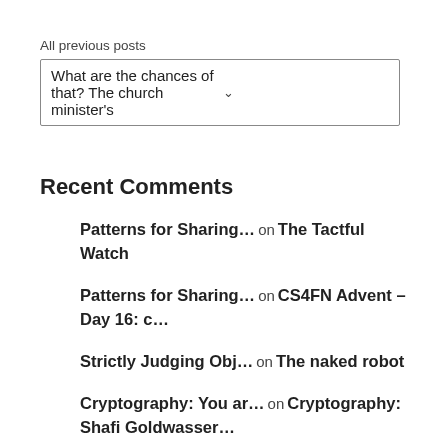All previous posts
What are the chances of that? The church minister's ⌄
Recent Comments
Patterns for Sharing… on The Tactful Watch
Patterns for Sharing… on CS4FN Advent – Day 16: c…
Strictly Judging Obj… on The naked robot
Cryptography: You ar… on Cryptography: Shafi Goldwasser…
The First Law of Hum… on Dressing it up